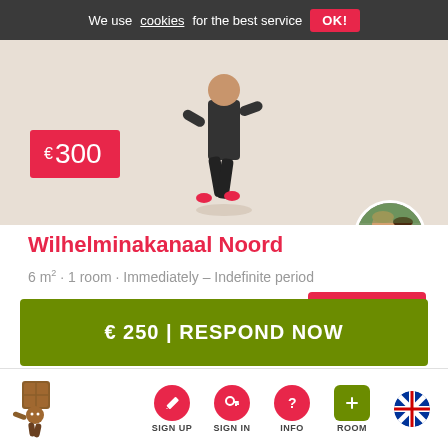We use cookies for the best service  OK!
[Figure (illustration): Hero image area with beige/tan background showing partial view of a walking figure illustration with dark pants and red shoes. A pink/red price badge showing €300 is overlaid bottom-left. A circular avatar photo of a couple is positioned bottom-right.]
Wilhelminakanaal Noord
6 m² · 1 room · Immediately – Indefinite period
SHARE
€ 250 | RESPOND NOW
SIGN UP  SIGN IN  INFO  ROOM